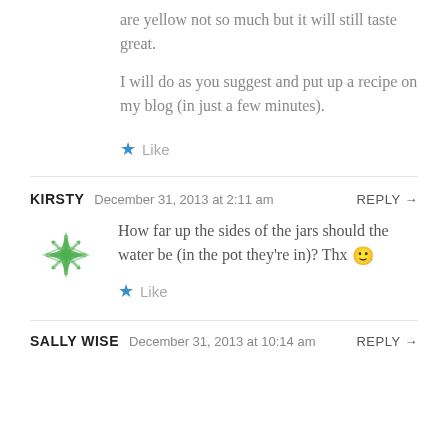are yellow not so much but it will still taste great.
I will do as you suggest and put up a recipe on my blog (in just a few minutes).
Like
KIRSTY   December 31, 2013 at 2:11 am   REPLY →
How far up the sides of the jars should the water be (in the pot they're in)? Thx 🙂
Like
SALLY WISE   December 31, 2013 at 10:14 am   REPLY →